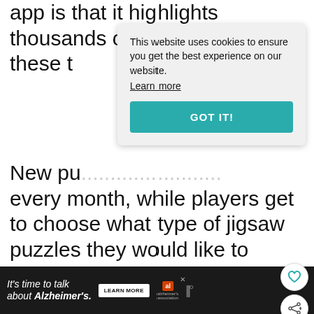app is that it highlights thousands of puzzle these t
[Figure (screenshot): Cookie consent banner overlay with text 'This website uses cookies to ensure you get the best experience on our website. Learn more' and a teal 'GOT IT!' button]
New pu every month, while players get to choose what type of jigsaw puzzles they would like to download according to their individual preferences.
[Figure (illustration): Heart icon button (circular white button with heart outline)]
[Figure (illustration): Share icon button (circular white button with share icon)]
[Figure (screenshot): What's Next navigation widget with thumbnail image and text '11 Helpful Devices to L...']
[Figure (screenshot): Bottom advertisement banner for Alzheimer's awareness: 'It's time to talk about Alzheimer's.' with Learn More button and Alzheimer's Association logo]